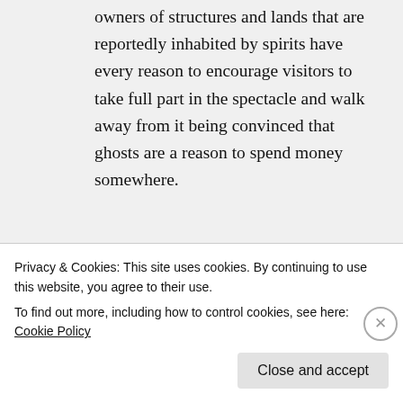owners of structures and lands that are reportedly inhabited by spirits have every reason to encourage visitors to take full part in the spectacle and walk away from it being convinced that ghosts are a reason to spend money somewhere.
★ Like
↪ Reply
Joe on January 29, 2016 at 6:22 pm
Privacy & Cookies: This site uses cookies. By continuing to use this website, you agree to their use.
To find out more, including how to control cookies, see here: Cookie Policy
Close and accept